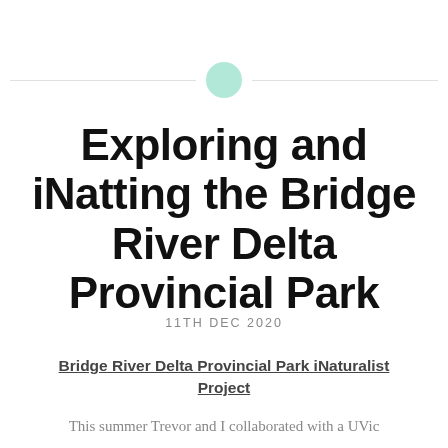[Figure (other): Horizontal divider line with a mint green circle in the center]
Exploring and iNatting the Bridge River Delta Provincial Park
11TH DEC 2020
Bridge River Delta Provincial Park iNaturalist Project
This summer Trevor and I collaborated with a UVic